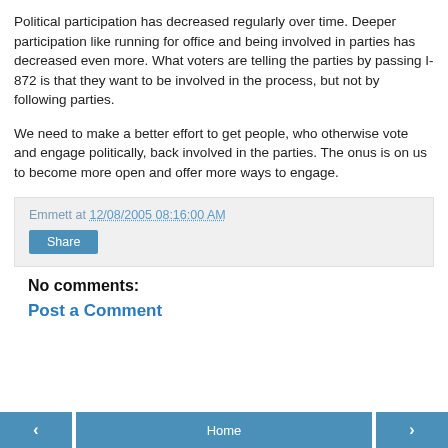Political participation has decreased regularly over time. Deeper participation like running for office and being involved in parties has decreased even more. What voters are telling the parties by passing I-872 is that they want to be involved in the process, but not by following parties.
We need to make a better effort to get people, who otherwise vote and engage politically, back involved in the parties. The onus is on us to become more open and offer more ways to engage.
Emmett at 12/08/2005 08:16:00 AM
Share
No comments:
Post a Comment
‹  Home  ›